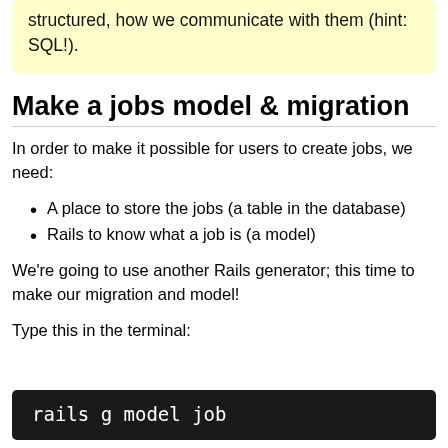structured, how we communicate with them (hint: SQL!).
Make a jobs model & migration
In order to make it possible for users to create jobs, we need:
A place to store the jobs (a table in the database)
Rails to know what a job is (a model)
We're going to use another Rails generator; this time to make our migration and model!
Type this in the terminal:
rails g model job